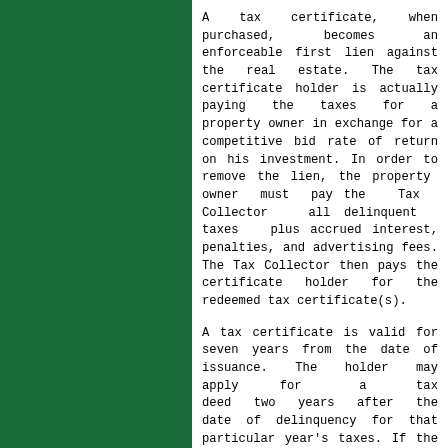A tax certificate, when purchased, becomes an enforceable first lien against the real estate. The tax certificate holder is actually paying the taxes for a property owner in exchange for a competitive bid rate of return on his investment. In order to remove the lien, the property owner must pay the Tax Collector all delinquent taxes plus accrued interest, penalties, and advertising fees. The Tax Collector then pays the certificate holder for the redeemed tax certificate(s).
A tax certificate is valid for seven years from the date of issuance. The holder may apply for a tax deed two years after the date of delinquency for that particular year's taxes. If the property owner still fails to pay the tax debt, a tax deed (property) is sold at public auction. The tax deed